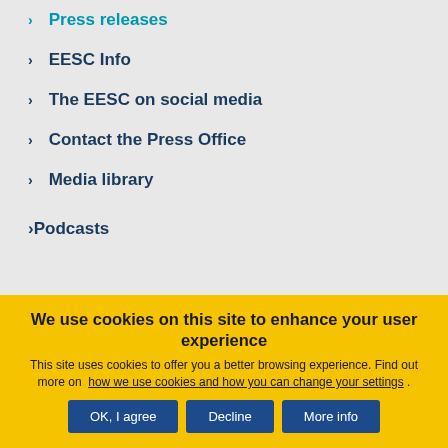Press releases
EESC Info
The EESC on social media
Contact the Press Office
Media library
Podcasts
We use cookies on this site to enhance your user experience
This site uses cookies to offer you a better browsing experience. Find out more on how we use cookies and how you can change your settings .